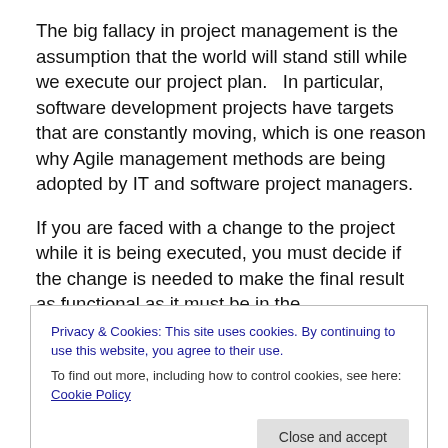The big fallacy in project management is the assumption that the world will stand still while we execute our project plan.   In particular, software development projects have targets that are constantly moving, which is one reason why Agile management methods are being adopted by IT and software project managers.
If you are faced with a change to the project while it is being executed, you must decide if the change is needed to make the final result as functional as it must be in the
Privacy & Cookies: This site uses cookies. By continuing to use this website, you agree to their use.
To find out more, including how to control cookies, see here: Cookie Policy
Close and accept
flexibility to respond to legitimate environmental forces.